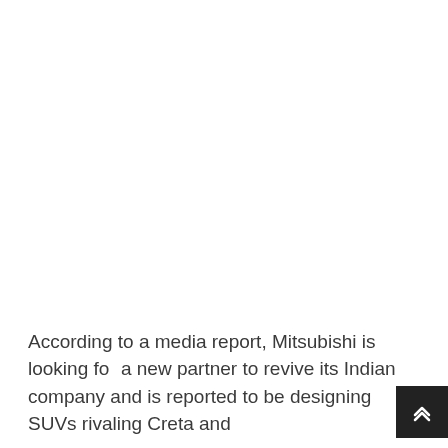According to a media report, Mitsubishi is looking for a new partner to revive its Indian company and is reported to be designing SUVs rivaling Creta and